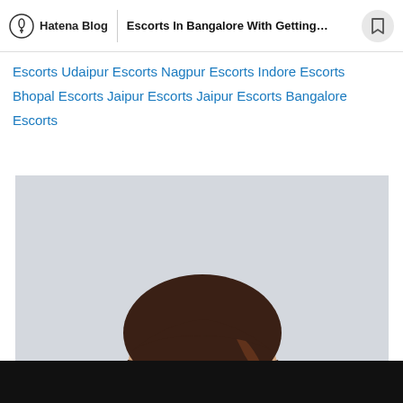Hatena Blog | Escorts In Bangalore With Getting...
Escorts Udaipur Escorts Nagpur Escorts Indore Escorts Bhopal Escorts Jaipur Escorts Jaipur Escorts Bangalore Escorts
[Figure (photo): Portrait photo of a young woman with dark shoulder-length hair, hoop earrings, and red lipstick, photographed against a light grey background.]